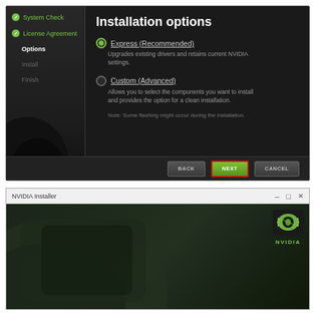[Figure (screenshot): NVIDIA driver installer showing Installation Options screen with sidebar (System Check, License Agreement, Options, Install, Finish), main content with Express (Recommended) and Custom (Advanced) radio options, and BACK/NEXT/CANCEL buttons at bottom. NEXT button highlighted with red border.]
[Figure (screenshot): NVIDIA Installer window titlebar with minimize, maximize, close controls, and a dark green background with NVIDIA shield logo and NVIDIA branding in top right corner.]